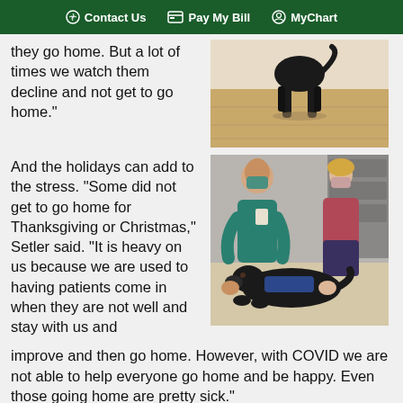Contact Us   Pay My Bill   MyChart
they go home. But a lot of times we watch them decline and not get to go home."
[Figure (photo): A black dog (therapy/service dog) standing on a wooden floor, viewed from behind]
And the holidays can add to the stress. "Some did not get to go home for Thanksgiving or Christmas," Setler said. "It is heavy on us because we are used to having patients come in when they are not well and stay with us and
[Figure (photo): Two healthcare workers in teal scrubs and face masks kneeling on the floor petting a black Labrador therapy dog wearing a blue vest]
improve and then go home. However, with COVID we are not able to help everyone go home and be happy. Even those going home are pretty sick."